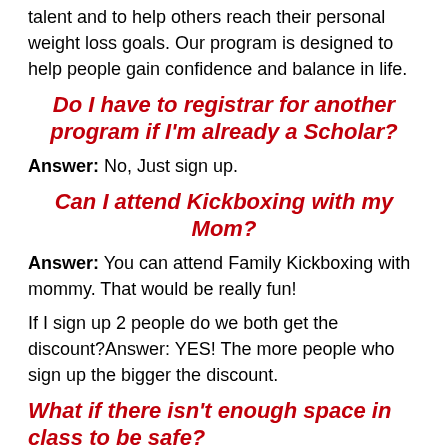talent and to help others reach their personal weight loss goals. Our program is designed to help people gain confidence and balance in life.
Do I have to registrar for another program if I'm already a Scholar?
Answer: No, Just sign up.
Can I attend Kickboxing with my Mom?
Answer: You can attend Family Kickboxing with mommy. That would be really fun!
If I sign up 2 people do we both get the discount?Answer: YES! The more people who sign up the bigger the discount.
What if there isn't enough space in class to be safe?
Answer: These are challenging times for us all. We will cross that bridge when we get to it. Just let us know that you're